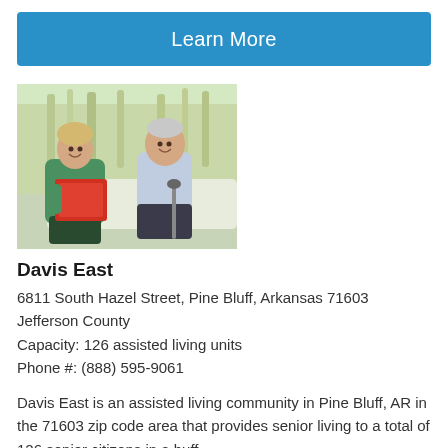Learn More
[Figure (photo): A female nurse in green scrubs holding a red book/folder sitting next to an elderly man with a cane, outdoors with tall grass in the background.]
Davis East
6811 South Hazel Street, Pine Bluff, Arkansas 71603
Jefferson County
Capacity: 126 assisted living units
Phone #: (888) 595-9061
Davis East is an assisted living community in Pine Bluff, AR in the 71603 zip code area that provides senior living to a total of 126 senior citizens in a buff...